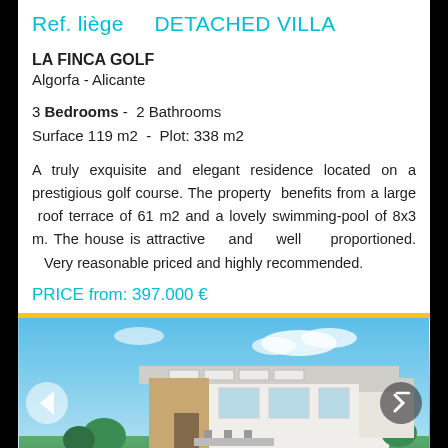Ref. liège    DETACHED VILLA
LA FINCA GOLF
Algorfa - Alicante
3 Bedrooms -  2 Bathrooms
Surface 119 m2  -  Plot: 338 m2
A truly exquisite and elegant residence located on a prestigious golf course. The property benefits from a large roof terrace of 61 m2 and a lovely swimming-pool of 8x3 m. The house is attractive and well proportioned. Very reasonable priced and highly recommended.
PRICE from: 397.000 €
[Figure (photo): Modern detached villa with flat roof, large terrace, outdoor dining area, and swimming pool in the foreground. Blue sky with clouds in the background.]